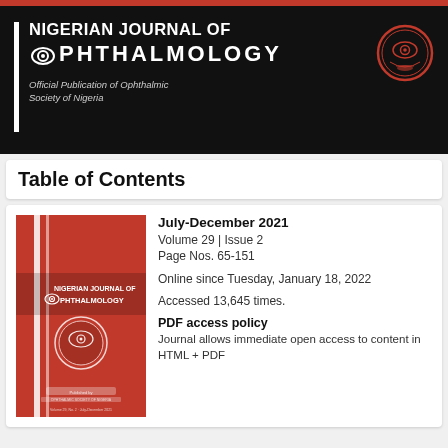[Figure (logo): Nigerian Journal of Ophthalmology banner with white text on black background, vertical bar and eye icon, journal circular logo on right]
Table of Contents
[Figure (illustration): Nigerian Journal of Ophthalmology red journal cover with white text and ophthalmology society logo]
July-December 2021
Volume 29 | Issue 2
Page Nos. 65-151
Online since Tuesday, January 18, 2022
Accessed 13,645 times.
PDF access policy
Journal allows immediate open access to content in HTML + PDF